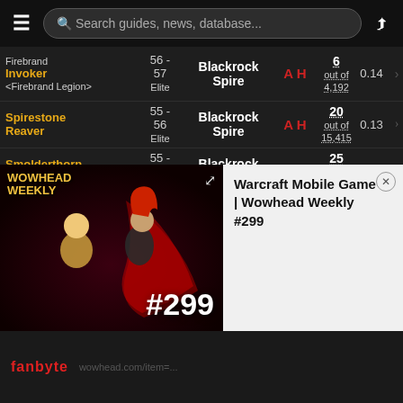Search guides, news, database...
| Name | Level | Zone | Faction | Drops | Rate |
| --- | --- | --- | --- | --- | --- |
| Firebrand Invoker <Firebrand Legion> | 56 - 57 Elite | Blackrock Spire | A H | 6 out of 4,192 | 0.14 |
| Spirestone Reaver | 55 - 56 Elite | Blackrock Spire | A H | 20 out of 15,415 | 0.13 |
| Smolderthorn Shadow Priest | 55 - 56 Elite | Blackrock Spire | A H | 25 out of 22,188 | 0.11 |
| Firebrand Darkweaver <Firebrand | 56 - 57 Elite | Blackrock Spire | A H | 19 out of 17,141 | 0.11 |
[Figure (screenshot): Wowhead Weekly #299 video thumbnail showing cartoon characters and episode number]
Warcraft Mobile Game | Wowhead Weekly #299